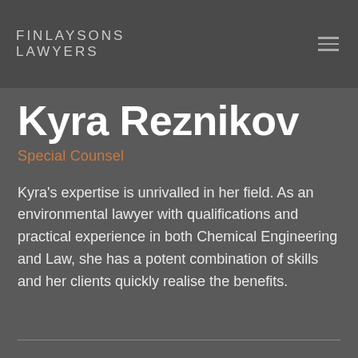FINLAYSONS LAWYERS
Kyra Reznikov
Special Counsel
Kyra's expertise is unrivalled in her field. As an environmental lawyer with qualifications and practical experience in both Chemical Engineering and Law, she has a potent combination of skills and her clients quickly realise the benefits.